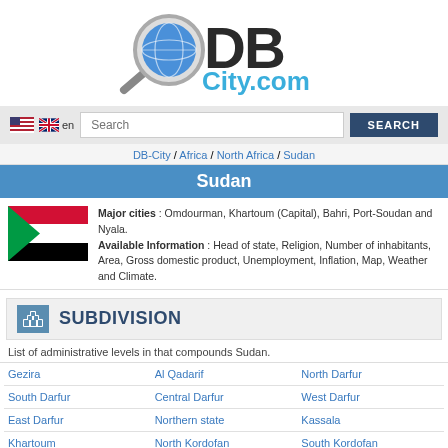[Figure (logo): DBCity.com logo with magnifying glass over globe icon and blue text 'DB' and 'City.com']
en  Search  SEARCH
DB-City / Africa / North Africa / Sudan
Sudan
Major cities : Omdourman, Khartoum (Capital), Bahri, Port-Soudan and Nyala. Available Information : Head of state, Religion, Number of inhabitants, Area, Gross domestic product, Unemployment, Inflation, Map, Weather and Climate.
SUBDIVISION
List of administrative levels in that compounds Sudan.
| Gezira | Al Qadarif | North Darfur |
| South Darfur | Central Darfur | West Darfur |
| East Darfur | Northern state | Kassala |
| Khartoum | North Kordofan | South Kordofan |
| West Kordofan | Red Sea | River Nile |